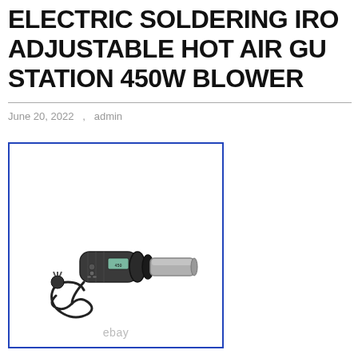ELECTRIC SOLDERING IRON ADJUSTABLE HOT AIR GUN STATION 450W BLOWER
June 20, 2022   ,   admin
[Figure (photo): Product photo of a handheld hot air gun / blower with a metallic nozzle, black grip body with LCD display and control buttons, and a coiled power cord. Watermark 'ebay' at bottom center. Image surrounded by a blue rectangular border.]